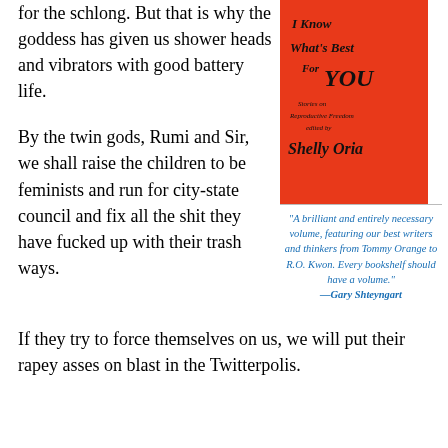for the schlong. But that is why the goddess has given us shower heads and vibrators with good battery life.
[Figure (illustration): Book cover with red background and handwritten-style title text reading 'I Know What's Best For YOU', subtitle 'Stories on Reproductive Freedom edited by Shelly Oria']
"A brilliant and entirely necessary volume, featuring our best writers and thinkers from Tommy Orange to R.O. Kwon. Every bookshelf should have a volume." —Gary Shteyngart
By the twin gods, Rumi and Sir, we shall raise the children to be feminists and run for city-state council and fix all the shit they have fucked up with their trash ways.
If they try to force themselves on us, we will put their rapey asses on blast in the Twitterpolis.